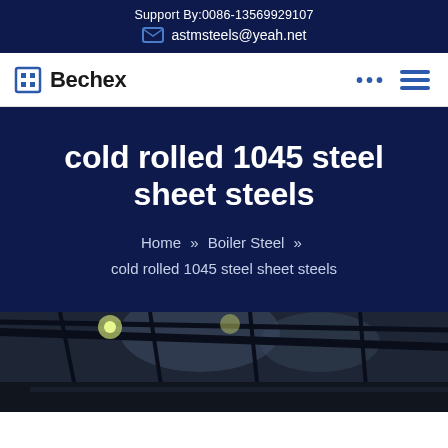Support By:0086-13569929107
astmsteels@yeah.net
Bechex
cold rolled 1045 steel sheet steels
Home » Boiler Steel » cold rolled 1045 steel sheet steels
[Figure (photo): Factory/industrial interior photograph showing steel production facility]